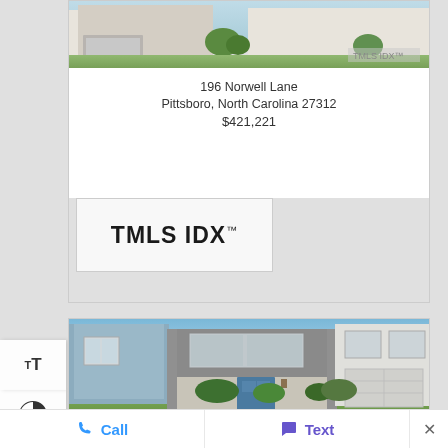[Figure (photo): Exterior photo of a house/townhome from previous listing card (top portion visible)]
196 Norwell Lane
Pittsboro, North Carolina 27312
$421,221
[Figure (logo): TMLS IDX logo in white box]
[Figure (photo): Exterior rendering of a two-story townhome with blue door, stone and siding facade, two-car garage]
Call
Text